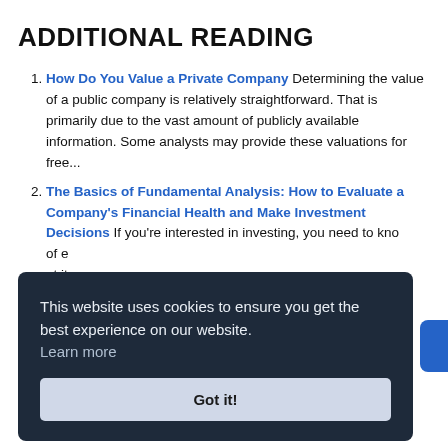ADDITIONAL READING
How Do You Value a Private Company Determining the value of a public company is relatively straightforward. That is primarily due to the vast amount of publicly available information. Some analysts may provide these valuations for free...
The Basics of Fundamental Analysis: How to Evaluate a Company's Financial Health and Make Investment Decisions If you're interested in investing, you need to know... of e... at its...
Sens... must... assu... assu... judgments. This impact comes in the form...
This website uses cookies to ensure you get the best experience on our website. Learn more
Got it!